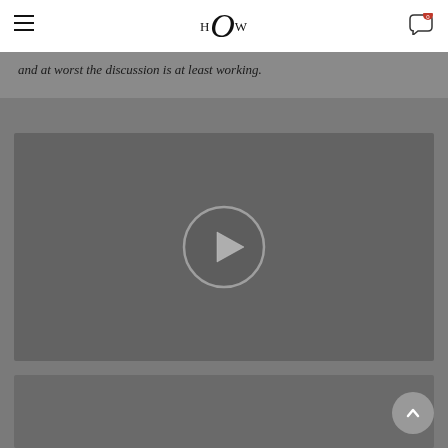HOW logo with navigation
and at worst the discussion is at least working.
[Figure (screenshot): Video player with dark gray background and a circular play button in the center]
[Figure (screenshot): Partial image at the bottom of the page with dark gray background]